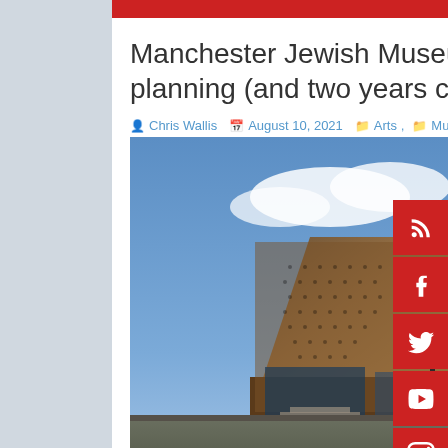Manchester Jewish Museum reopens after a decade of planning (and two years closure)
Chris Wallis  August 10, 2021  Arts  ,  Museums  Comments Off
[Figure (photo): Exterior photograph of the Manchester Jewish Museum showing a modern copper/corten steel angular extension alongside the original Victorian red brick synagogue building with arched windows, under a partly cloudy sky.]
The Jewish people have more history than most. They have been kicked out of country after country, and murdered by politicians seeking a scapegoat or by monarchs seeking to escape debt. Opportunities to settle must seem